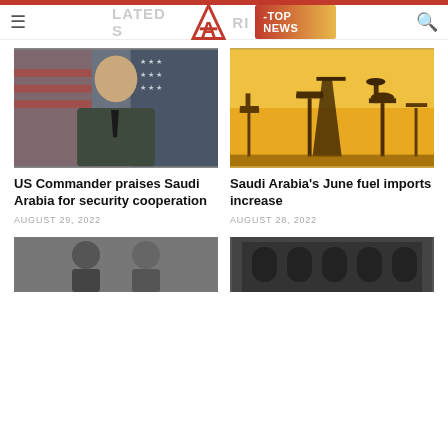RELATED STORIES — TOP NEWS
[Figure (photo): Official military portrait of a US Air Force commander in uniform, with American and other flags in the background]
US Commander praises Saudi Arabia for security cooperation
AUGUST 29, 2022
[Figure (photo): Silhouette of oil pump jacks against a golden sunset sky]
Saudi Arabia's June fuel imports increase
AUGUST 28, 2022
[Figure (photo): Partial photo bottom left — people in formal/business setting]
[Figure (photo): Partial photo bottom right — building with arched windows/facade]